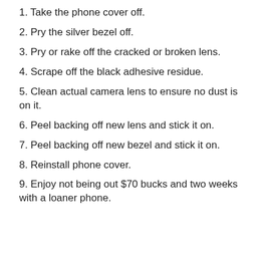1. Take the phone cover off.
2. Pry the silver bezel off.
3. Pry or rake off the cracked or broken lens.
4. Scrape off the black adhesive residue.
5. Clean actual camera lens to ensure no dust is on it.
6. Peel backing off new lens and stick it on.
7. Peel backing off new bezel and stick it on.
8. Reinstall phone cover.
9. Enjoy not being out $70 bucks and two weeks with a loaner phone.